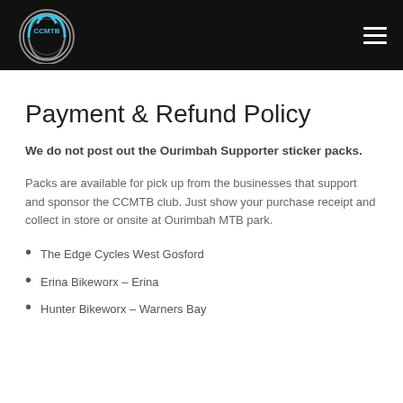CCMTB [logo and navigation header]
Payment & Refund Policy
We do not post out the Ourimbah Supporter sticker packs.
Packs are available for pick up from the businesses that support and sponsor the CCMTB club. Just show your purchase receipt and collect in store or onsite at Ourimbah MTB park.
The Edge Cycles West Gosford
Erina Bikeworx – Erina
Hunter Bikeworx – Warners Bay